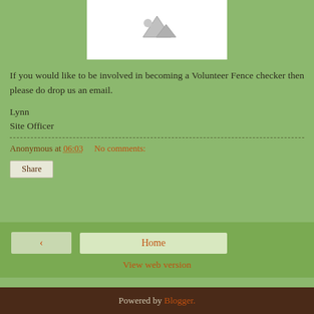[Figure (photo): Placeholder image with grey mountain/landscape icon on white background]
If you would like to be involved in becoming a Volunteer Fence checker then please do drop us an email.
Lynn
Site Officer
Anonymous at 06:03    No comments:
Share
‹    Home
View web version
Powered by Blogger.